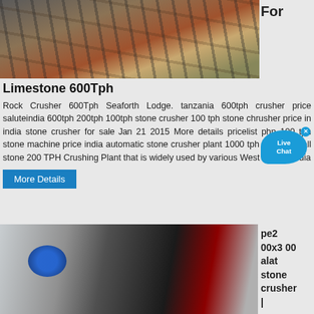[Figure (photo): Industrial stone crushing plant with steel framework structures and dirt mounds]
For
Limestone 600Tph
Rock Crusher 600Tph Seaforth Lodge. tanzania 600tph crusher price saluteindia 600tph 200tph 100tph stone crusher 100 tph stone chrusher price in india stone crusher for sale Jan 21 2015 More details pricelist php 100 tph stone machine price india automatic stone crusher plant 1000 tph cost in small stone 200 TPH Crushing Plant that is widely used by various West Bengal India
More Details
[Figure (photo): Industrial vibrating screen or conveyor machine with blue electric motor]
pe2 00x3 00 alat stone crusher |